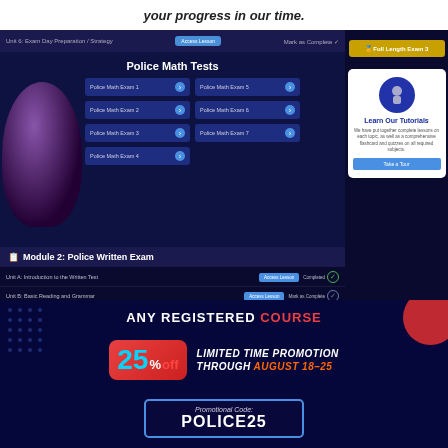your progress in our time.
[Figure (screenshot): Screenshot of a police exam prep course platform showing Police Math Tests with 7 exam buttons (Police Math Exam 1-7) and Module 2: Police Written Exam with lesson rows including Unit A: Introduction to the Written Test (Completed), Unit B: Basic Reading and Grammar, Unit C: Reading Comprehension Analysis, Unit D: Observational Awareness, Unit E: Advanced Grammar Rules, Unit F: Memory Enhancement Strategies, Unit G: Techniques-Incident Report Writing. Right sidebar shows Full Length Exam 3 button and Learn Our Tutorials section with Take a Tour button.]
ANY REGISTERED COURSE
25% off LIMITED TIME PROMOTION THROUGH AUGUST 18-25
Promotional Code: POLICE25